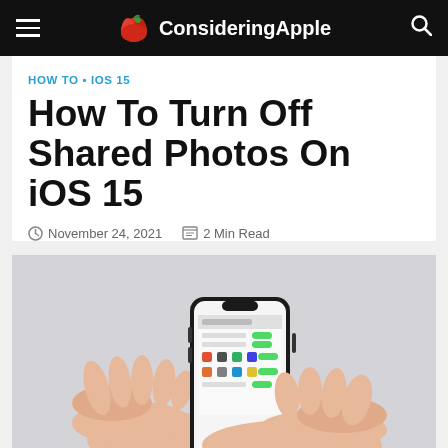ConsideringApple
HOW TO • IOS 15
How To Turn Off Shared Photos On iOS 15
November 24, 2021   2 Min Read
[Figure (photo): Two hands holding an iPhone displaying a settings screen, shown against a light grey background.]